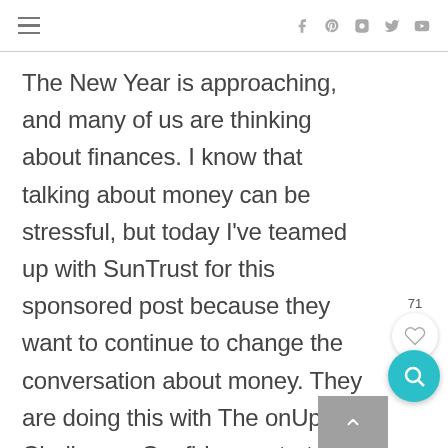≡ [hamburger menu] | [social icons: facebook, pinterest, instagram, twitter, youtube]
The New Year is approaching, and many of us are thinking about finances. I know that talking about money can be stressful, but today I've teamed up with SunTrust for this sponsored post because they want to continue to change the conversation about money. They are doing this with The onUp Challenge. Confidence starts here. It's time to worry less about money.